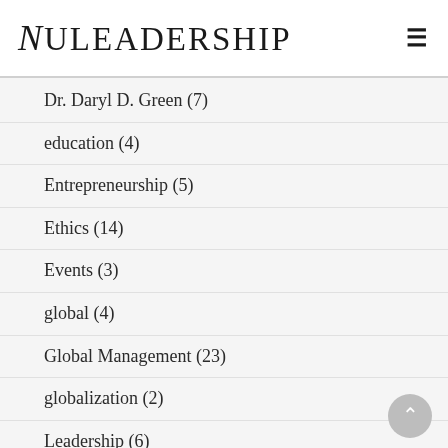NULEADERSHIP
Dr. Daryl D. Green (7)
education (4)
Entrepreneurship (5)
Ethics (14)
Events (3)
global (4)
Global Management (23)
globalization (2)
Leadership (6)
Leadership Development (85)
Management (81)
Marketing (1)